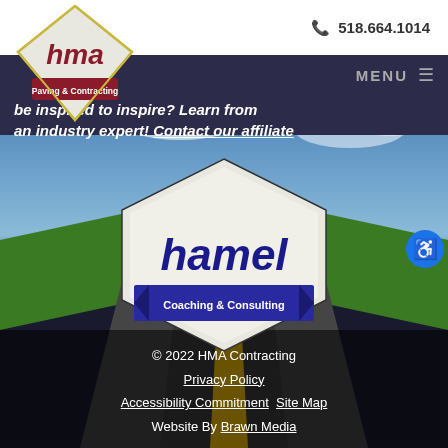[Figure (screenshot): Website screenshot of HMA Paving & Contracting page showing road background, HMA logo, Hamel Coaching & Consulting affiliate logo, navigation bar, and footer links]
518.664.1014  MENU
be inspired to inspire? Learn from an industry expert! Contact our affiliate
© 2022 HMA Contracting  Privacy Policy  Accessibility Commitment  Site Map  Website By Brawn Media